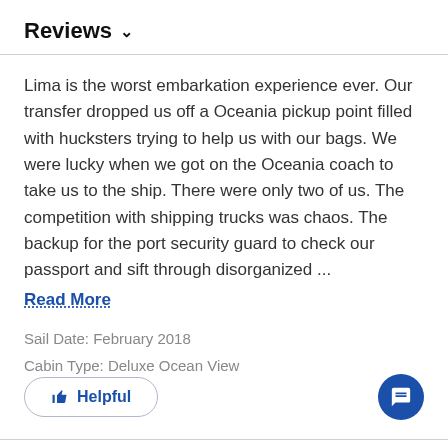Reviews ∨
Lima is the worst embarkation experience ever. Our transfer dropped us off a Oceania pickup point filled with hucksters trying to help us with our bags. We were lucky when we got on the Oceania coach to take us to the ship. There were only two of us. The competition with shipping trucks was chaos. The backup for the port security guard to check our passport and sift through disorganized ...
Read More
Sail Date: February 2018
Cabin Type: Deluxe Ocean View
Helpful